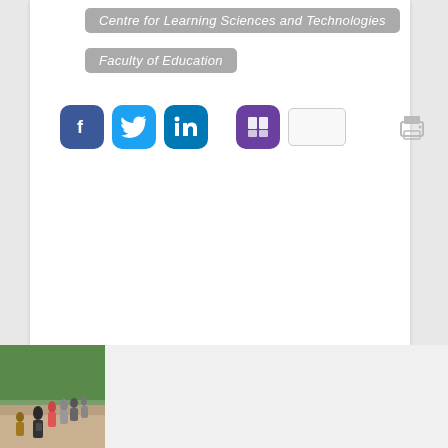Centre for Learning Sciences and Technologies
Faculty of Education
[Figure (screenshot): Social media sharing icons: Facebook (blue), Twitter (light blue), LinkedIn (dark blue), a purple book/reading icon, a blank white rectangle, a grey printer icon, and a grey email/envelope icon]
[Figure (photo): Group of students walking on rocky terrain outdoors with trees in the background]